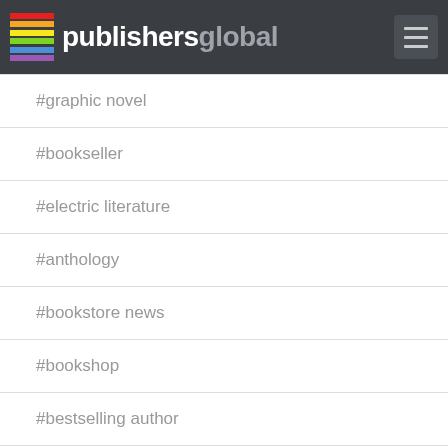publishersglobal
#graphic novel
#bookseller
#electric literature
#anthology
#bookstore news
#bookshop
#bestselling author
#bestselling ibooks
#booksellers association